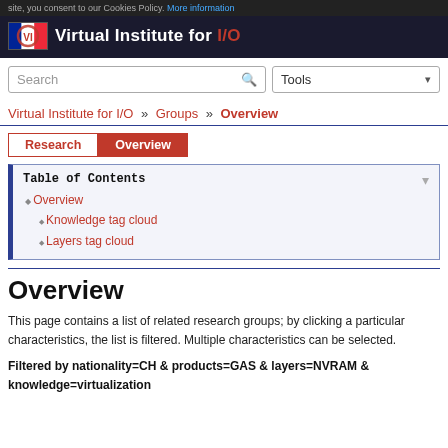site, you consent to our Cookies Policy. More information
[Figure (logo): Virtual Institute for I/O logo with French flag and red text]
[Figure (screenshot): Search box and Tools dropdown]
Virtual Institute for I/O » Groups » Overview
Research | Overview (tabs)
Table of Contents
Overview
Knowledge tag cloud
Layers tag cloud
Overview
This page contains a list of related research groups; by clicking a particular characteristics, the list is filtered. Multiple characteristics can be selected.
Filtered by nationality=CH & products=GAS & layers=NVRAM & knowledge=virtualization